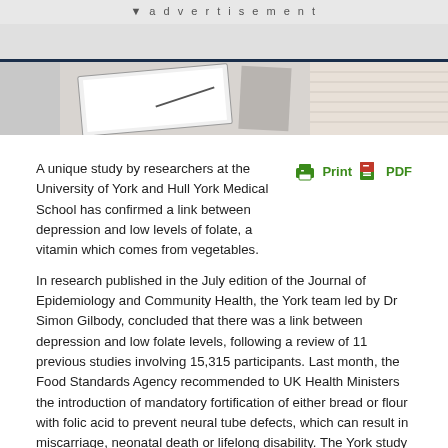▾ advertisement
[Figure (photo): Photograph of notebook/tablet and fabric texture, partially visible at top of article]
A unique study by researchers at the University of York and Hull York Medical School has confirmed a link between depression and low levels of folate, a vitamin which comes from vegetables.
In research published in the July edition of the Journal of Epidemiology and Community Health, the York team led by Dr Simon Gilbody, concluded that there was a link between depression and low folate levels, following a review of 11 previous studies involving 15,315 participants. Last month, the Food Standards Agency recommended to UK Health Ministers the introduction of mandatory fortification of either bread or flour with folic acid to prevent neural tube defects, which can result in miscarriage, neonatal death or lifelong disability. The York study suggests that the measure may also help in the fight against